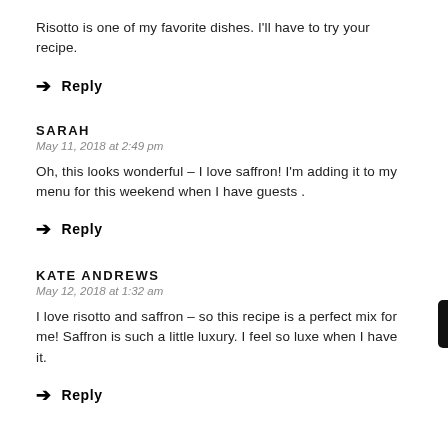Risotto is one of my favorite dishes. I'll have to try your recipe.
→ Reply
SARAH
May 11, 2018 at 2:49 pm
Oh, this looks wonderful – I love saffron! I'm adding it to my menu for this weekend when I have guests .
→ Reply
KATE ANDREWS
May 12, 2018 at 1:32 am
I love risotto and saffron – so this recipe is a perfect mix for me! Saffron is such a little luxury. I feel so luxe when I have it.
→ Reply